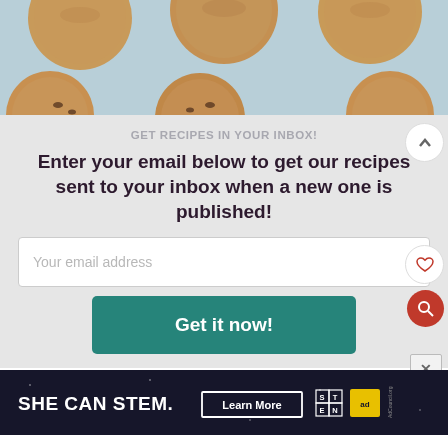[Figure (photo): Top portion of photo showing peanut butter cookies on a light blue background, cropped at top and bottom]
GET RECIPES IN YOUR INBOX!
Enter your email below to get our recipes sent to your inbox when a new one is published!
Your email address
Get it now!
[Figure (screenshot): SHE CAN STEM advertisement banner with Learn More button, STEM logo, and Ad Council logo on dark background]